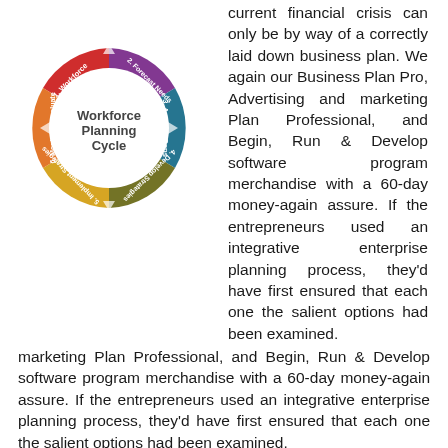[Figure (flowchart): Circular Workforce Planning Cycle diagram with 6 colored arrow segments: 1. Workforce (red), 2. Forecast Needs (purple), 3. Analyse Gaps (teal/blue), 4. Develop Strategies (olive/dark yellow), 5. Implement Strategies (yellow), 6. Monitor & Evaluate (orange). Center text reads 'Workforce Planning Cycle'.]
current financial crisis can only be by way of a correctly laid down business plan. We again our Business Plan Pro, Advertising and marketing Plan Professional, and Begin, Run & Develop software program merchandise with a 60-day money-again assure. If the entrepreneurs used an integrative enterprise planning process, they'd have first ensured that each one the salient options had been examined.
You can use your business plan to, as a way to concentrate on what it is advisable do to succeed